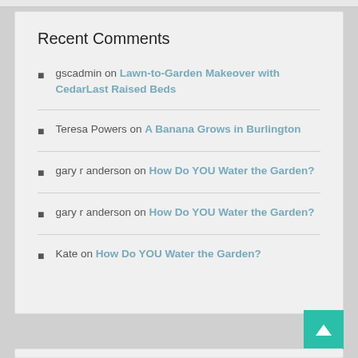Recent Comments
gscadmin on Lawn-to-Garden Makeover with CedarLast Raised Beds
Teresa Powers on A Banana Grows in Burlington
gary r anderson on How Do YOU Water the Garden?
gary r anderson on How Do YOU Water the Garden?
Kate on How Do YOU Water the Garden?